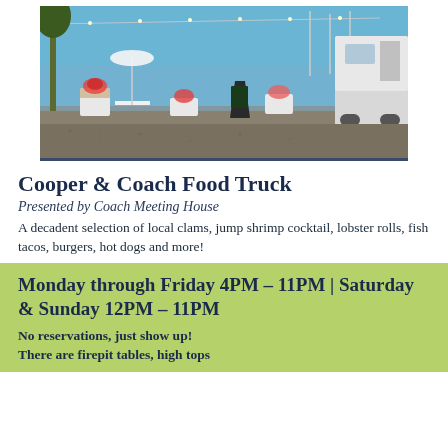[Figure (photo): Outdoor food truck setup near a marina with white planter boxes containing flowers, string lights overhead, an A-frame chalkboard sign, and a silver/white food truck trailer on the right side. Blue sky in background.]
Cooper & Coach Food Truck
Presented by Coach Meeting House
A decadent selection of local clams, jump shrimp cocktail, lobster rolls, fish tacos, burgers, hot dogs and more!
Monday through Friday 4PM – 11PM  |   Saturday & Sunday 12PM – 11PM
No reservations, just show up! There are firepit tables, high tops